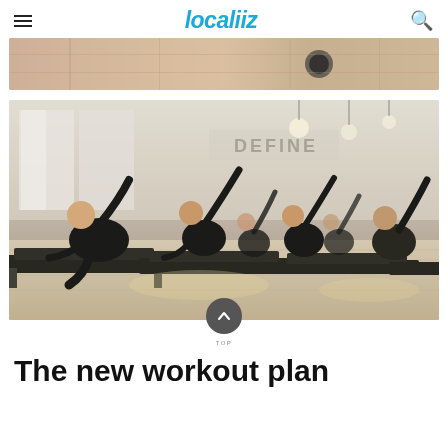localiiz
[Figure (photo): Top partial photo of a pilates or gym studio interior showing wooden walls and equipment]
[Figure (photo): Group pilates reformer class with multiple participants in black workout clothes doing side stretches on reformer machines in a bright studio]
The new workout plan